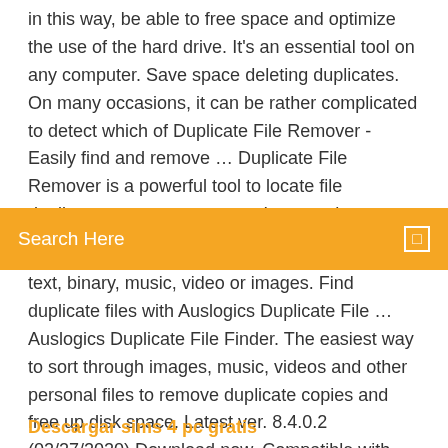in this way, be able to free space and optimize the use of the hard drive. It's an essential tool on any computer. Save space deleting duplicates. On many occasions, it can be rather complicated to detect which of Duplicate File Remover - Easily find and remove … Duplicate File Remover is a powerful tool to locate file duplicates on your computer. It scans the computer
[Figure (screenshot): Orange search bar with white 'Search Here' placeholder text and a small square icon on the right]
text, binary, music, video or images. Find duplicate files with Auslogics Duplicate File … Auslogics Duplicate File Finder. The easiest way to sort through images, music, videos and other personal files to remove duplicate copies and free up disk space. Latest ver. 8.4.0.2 (02/27/2020) Download now. Compatible with Win 7, 8.1, 10. 10 years. on the market. 5-star awards. from industry experts. 20 + million. user downloads. What does Duplicate File Finder do? The problem: You may have
Descargar sims 4 pc gratis